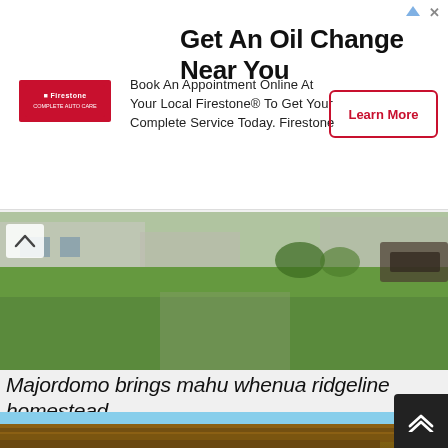[Figure (infographic): Firestone advertisement banner: 'Get An Oil Change Near You' with Firestone logo, body text 'Book An Appointment Online At Your Local Firestone® To Get Your Complete Service Today. Firestone', and a 'Learn More' button with red border.]
[Figure (photo): Exterior photo of a modern building with green lawn and landscaping in the foreground, architectural structures in the background.]
Majordomo brings mahu whenua ridgeline homestead
[Figure (photo): Close-up photo of a modern wooden building with exposed timber beam eaves and large window, blue sky in background with trees on the hillside.]